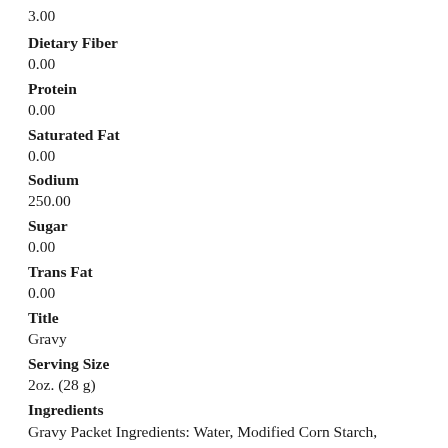3.00
Dietary Fiber
0.00
Protein
0.00
Saturated Fat
0.00
Sodium
250.00
Sugar
0.00
Trans Fat
0.00
Title
Gravy
Serving Size
2oz. (28 g)
Ingredients
Gravy Packet Ingredients: Water, Modified Corn Starch, Maltodextrin, Salt, Rice Flour, Cooked Turkey, Onion Powder,